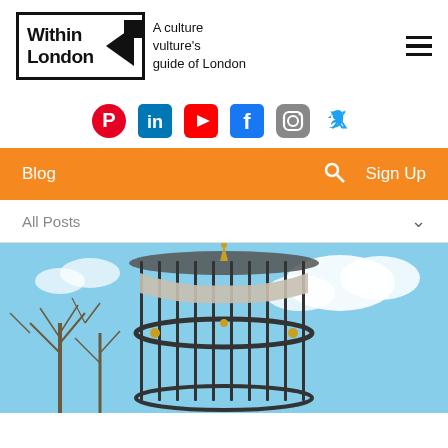Within London — A culture vulture's guide of London
[Figure (logo): Within London logo with black triangle/arrow inside a bordered box, followed by tagline 'A culture vulture's guide of London' and a hamburger menu icon]
[Figure (infographic): Row of social media icons: Pinterest (red), LinkedIn (blue), YouTube (red), Facebook (blue), Instagram (gradient/grey), Twitter (blue)]
Blog
Sign Up
All Posts
[Figure (photo): Photograph of an ornate black metal circular structure (bandstand or birdcage) with a gold spire on top, against a blue sky with clouds and bare trees in the background]